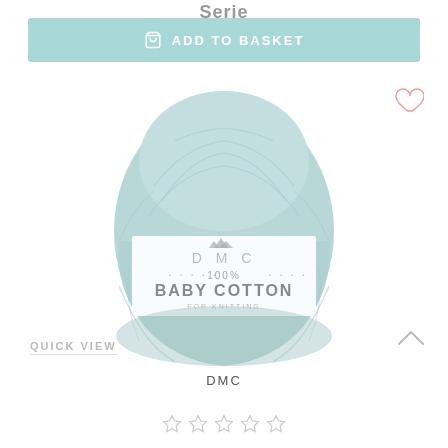Serie
[Figure (other): Add to basket button with shopping bag icon, teal/mint background]
[Figure (photo): Ball of DMC 100% Baby Cotton yarn in light blue/mint color with white label showing DMC logo and product name]
QUICK VIEW
DMC
[Figure (other): Five empty star rating icons]